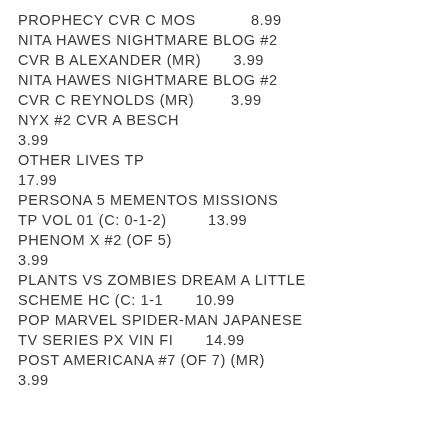PROPHECY CVR C MOS    8.99
NITA HAWES NIGHTMARE BLOG #2 CVR B ALEXANDER (MR)    3.99
NITA HAWES NIGHTMARE BLOG #2 CVR C REYNOLDS (MR)    3.99
NYX #2 CVR A BESCH
3.99
OTHER LIVES TP
17.99
PERSONA 5 MEMENTOS MISSIONS TP VOL 01 (C: 0-1-2)    13.99
PHENOM X #2 (OF 5)
3.99
PLANTS VS ZOMBIES DREAM A LITTLE SCHEME HC (C: 1-1    10.99
POP MARVEL SPIDER-MAN JAPANESE TV SERIES PX VIN FI    14.99
POST AMERICANA #7 (OF 7) (MR)
3.99